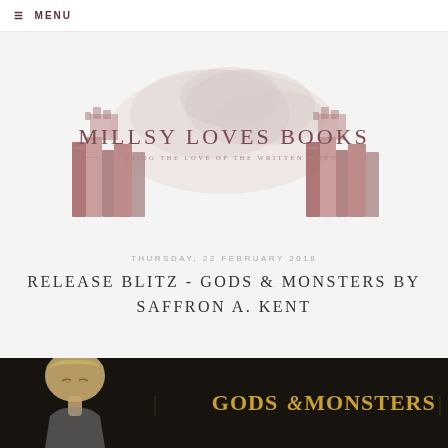≡ MENU
[Figure (logo): Millsy Loves Books blog logo with illustrated book stacks on left and right, decorative smoke/cloud in background, text 'MILLSY LOVES BOOKS' and subtitle 'SHARING THE LOVE OF THE WRITTEN WORD']
THURSDAY, 22 FEBRUARY 2018
RELEASE BLITZ - GODS & MONSTERS BY SAFFRON A. KENT
[Figure (photo): Book cover for 'Gods & Monsters' by Saffron A. Kent showing a man with blonde hair looking upward against a dark background, with large golden text reading 'GODS & MONSTERS']